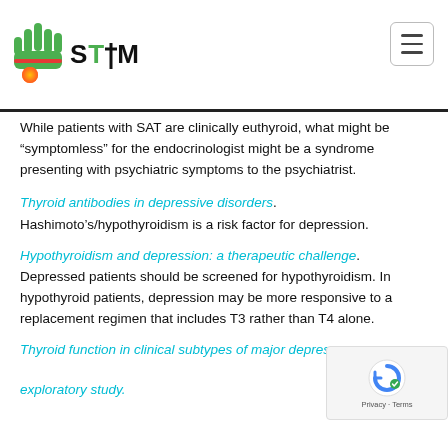STTM logo and navigation
While patients with SAT are clinically euthyroid, what might be “symptomless” for the endocrinologist might be a syndrome presenting with psychiatric symptoms to the psychiatrist.
Thyroid antibodies in depressive disorders.
Hashimoto’s/hypothyroidism is a risk factor for depression.
Hypothyroidism and depression: a therapeutic challenge.
Depressed patients should be screened for hypothyroidism. In hypothyroid patients, depression may be more responsive to a replacement regimen that includes T3 rather than T4 alone.
Thyroid function in clinical subtypes of major depressive disorder: an exploratory study.